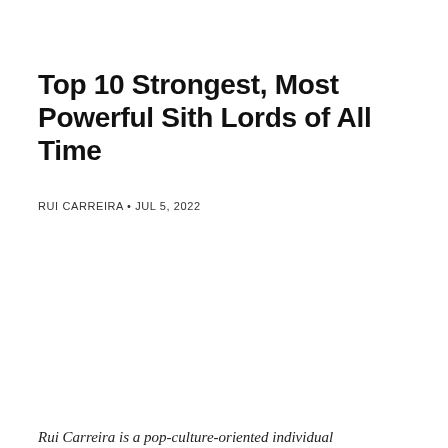Top 10 Strongest, Most Powerful Sith Lords of All Time
RUI CARREIRA • JUL 5, 2022
Rui Carreira is a pop-culture-oriented individual